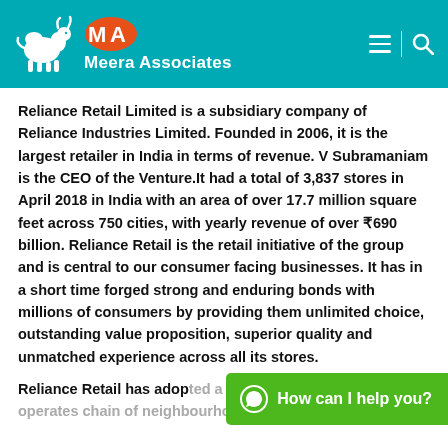Meera Associates
Reliance Retail Limited is a subsidiary company of Reliance Industries Limited. Founded in 2006, it is the largest retailer in India in terms of revenue. V Subramaniam is the CEO of the Venture.It had a total of 3,837 stores in April 2018 in India with an area of over 17.7 million square feet across 750 cities, with yearly revenue of over ₹690 billion. Reliance Retail is the retail initiative of the group and is central to our consumer facing businesses. It has in a short time forged strong and enduring bonds with millions of consumers by providing them unlimited choice, outstanding value proposition, superior quality and unmatched experience across all its stores.
Reliance Retail has adopted a multi-prong strategy and operates chain of neighbourhood stores, supermarkets